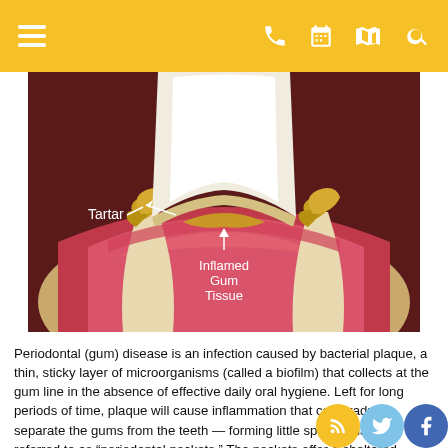Navigation bar with menu, phone, calendar, map, and search icons
[Figure (illustration): Medical illustration of a cross-section of a tooth and gum showing tartar buildup at the gum line (labeled with arrow: 'Tartar') and inflamed gum tissue (labeled with arrow: 'Inflamed Gum Tissue'). The gum is shown in red/pink indicating inflammation, with yellowish-brown tartar deposits visible near the gum line. The surrounding bone structure is also visible.]
Periodontal (gum) disease is an infection caused by bacterial plaque, a thin, sticky layer of microorganisms (called a biofilm) that collects at the gum line in the absence of effective daily oral hygiene. Left for long periods of time, plaque will cause inflammation that can gradually separate the gums from the teeth — forming little spaces that are referred to as “periodontal pockets.” The pockets offer a sheltered environment for the disease-causing (pathogenic) bacteria to reproduce. If the infection remains untreated, it can spread from the gum tissues into the bone that supports the teeth. Should this happen, your teeth may loosen and eventually be lost.